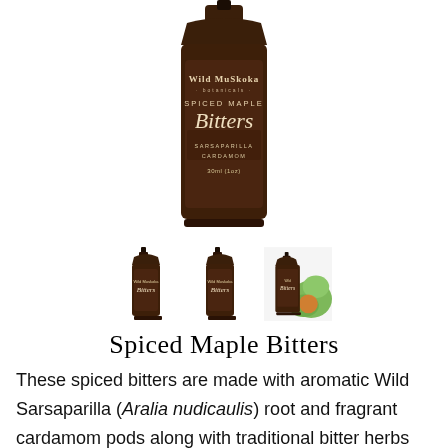[Figure (photo): A dark amber glass dropper bottle with label reading 'Wild Muskoka botanicals SPICED MAPLE Bitters SARSAPARILLA CARDAMOM 30ml (1oz)']
[Figure (photo): Three thumbnail images of the product bottle from different angles, with one showing the bottle alongside green garnish/herbs]
Spiced Maple Bitters
These spiced bitters are made with aromatic Wild Sarsaparilla (Aralia nudicaulis) root and fragrant cardamom pods along with traditional bitter herbs and flavored with maple syrup. These bitters are wonderful in creamy drinks and the carminative action of the cardamom is helpful for settling upset stomachs.